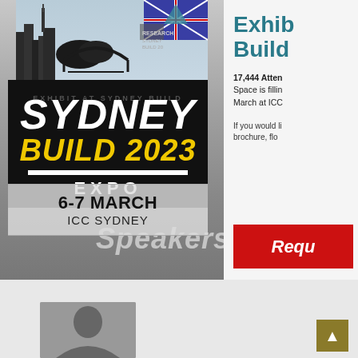[Figure (photo): Sydney Build 2023 Expo promotional banner showing city skyline collage with Australian flag elements, large black logo box with SYDNEY BUILD 2023 EXPO text, date 6-7 MARCH and ICC SYDNEY venue, with crowd of speakers in background]
Exhib
Build
17,444 Atten
Space is fillin
March at ICC
If you would li
brochure, flo
[Figure (other): Red button with text 'Requ']
[Figure (photo): Bottom section showing partial photo of a person in grayscale, with gold scroll-to-top button in bottom right corner]